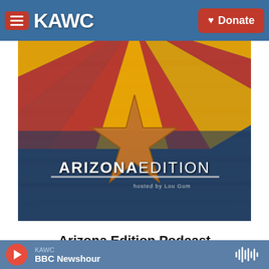KAWC | Donate
[Figure (photo): Arizona Edition podcast cover art showing Arizona state flag with radiating sun rays in red and yellow over a dark blue wooden background, with a copper star in the center, and the text 'ARIZONA EDITION hosted by Lou Gum' overlaid in white]
Arizona Edition Podcast
KAWC — BBC Newshour (player bar with play button and waveform icon)